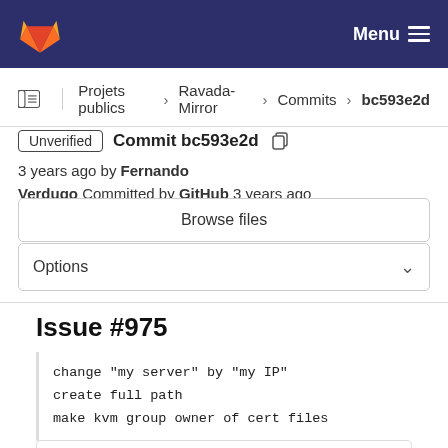GitLab Menu
Projets publics > Ravada-Mirror > Commits > bc593e2d
Unverified  Commit bc593e2d  3 years ago by Fernando Verdugo  Committed by GitHub 3 years ago
Browse files
Options
Issue #975
change "my server" by "my IP"
create full path
make kvm group owner of cert files